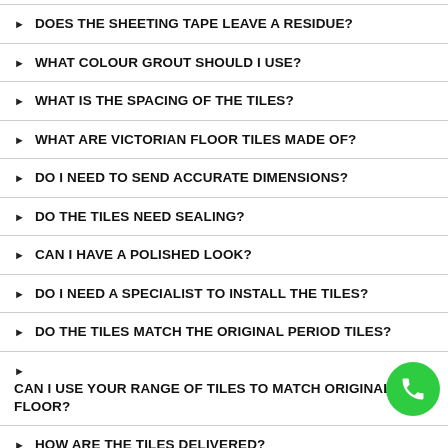DOES THE SHEETING TAPE LEAVE A RESIDUE?
WHAT COLOUR GROUT SHOULD I USE?
WHAT IS THE SPACING OF THE TILES?
WHAT ARE VICTORIAN FLOOR TILES MADE OF?
DO I NEED TO SEND ACCURATE DIMENSIONS?
DO THE TILES NEED SEALING?
CAN I HAVE A POLISHED LOOK?
DO I NEED A SPECIALIST TO INSTALL THE TILES?
DO THE TILES MATCH THE ORIGINAL PERIOD TILES?
CAN I USE YOUR RANGE OF TILES TO MATCH ORIGINAL FLOOR?
HOW ARE THE TILES DELIVERED?